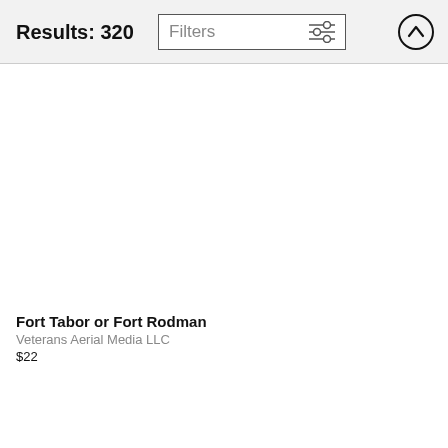Results: 320
[Figure (screenshot): Filters button with sliders icon]
[Figure (screenshot): Scroll to top button with upward arrow in circle]
Fort Tabor or Fort Rodman
Veterans Aerial Media LLC
$22